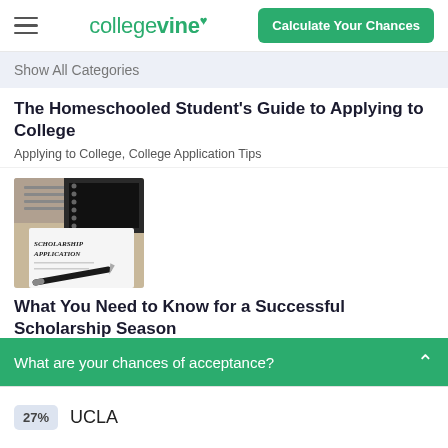collegevine — Calculate Your Chances
Show All Categories
The Homeschooled Student's Guide to Applying to College
Applying to College, College Application Tips
[Figure (photo): A scholarship application form with a pen on top and books/notebook in the background]
What You Need to Know for a Successful Scholarship Season
What are your chances of acceptance?
27% UCLA